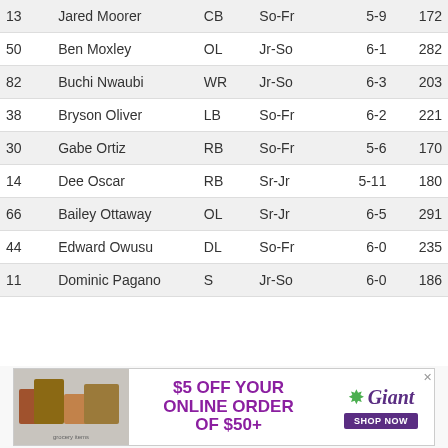| # | Name | Pos | Yr | Ht | Wt |
| --- | --- | --- | --- | --- | --- |
| 13 | Jared Moorer | CB | So-Fr | 5-9 | 172 |
| 50 | Ben Moxley | OL | Jr-So | 6-1 | 282 |
| 82 | Buchi Nwaubi | WR | Jr-So | 6-3 | 203 |
| 38 | Bryson Oliver | LB | So-Fr | 6-2 | 221 |
| 30 | Gabe Ortiz | RB | So-Fr | 5-6 | 170 |
| 14 | Dee Oscar | RB | Sr-Jr | 5-11 | 180 |
| 66 | Bailey Ottaway | OL | Sr-Jr | 6-5 | 291 |
| 44 | Edward Owusu | DL | So-Fr | 6-0 | 235 |
| 11 | Dominic Pagano | S | Jr-So | 6-0 | 186 |
[Figure (infographic): Giant supermarket advertisement: $5 OFF YOUR ONLINE ORDER OF $50+ with SHOP NOW button]